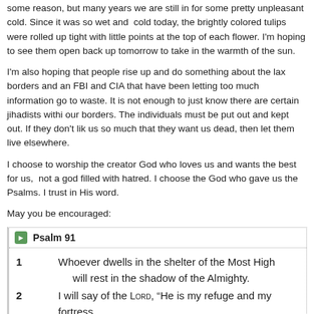some reason, but many years we are still in for some pretty unpleasant cold. Since it was so wet and cold today, the brightly colored tulips were rolled up tight with little points at the top of each flower. I'm hoping to see them open back up tomorrow to take in the warmth of the sun.
I'm also hoping that people rise up and do something about the lax borders and an FBI and CIA that have been letting too much information go to waste. It is not enough to just know there are certain jihadists within our borders. The individuals must be put out and kept out. If they don't like us so much that they want us dead, then let them live elsewhere.
I choose to worship the creator God who loves us and wants the best for us, not a god filled with hatred. I choose the God who gave us the Psalms. I trust in His word.
May you be encouraged:
Psalm 91
1 Whoever dwells in the shelter of the Most High will rest in the shadow of the Almighty.
2 I will say of the LORD, “He is my refuge and my fortress, my God, in whom I trust.”